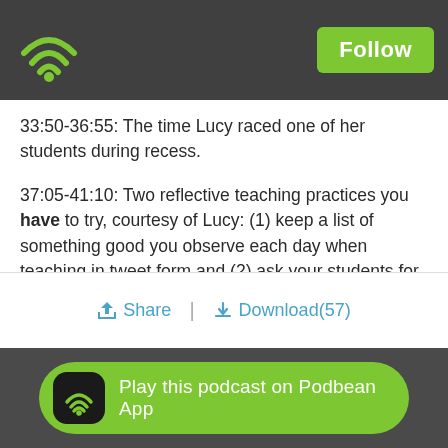Podbean app header with Follow button
33:50-36:55:  The time Lucy raced one of her students during recess.
37:05-41:10: Two reflective teaching practices you have to try, courtesy of Lucy: (1) keep a list of something good you observe each day when teaching in tweet form and (2) ask your students for “one piece of advice you’d give youth taking this class next year.”
44:58- 45:33 : Shamia’s final tip, bound to inspire us all: “Do it anyway.”
Share | Download(57)
Play this podcast on Podbean App